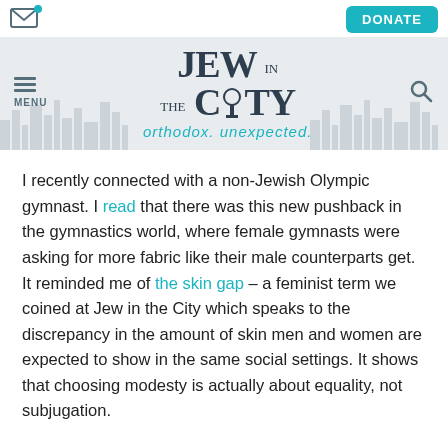Jew in the City — orthodox. unexpected.
I recently connected with a non-Jewish Olympic gymnast. I read that there was this new pushback in the gymnastics world, where female gymnasts were asking for more fabric like their male counterparts get. It reminded me of the skin gap – a feminist term we coined at Jew in the City which speaks to the discrepancy in the amount of skin men and women are expected to show in the same social settings. It shows that choosing modesty is actually about equality, not subjugation.
While I was expecting to discuss the choice for women